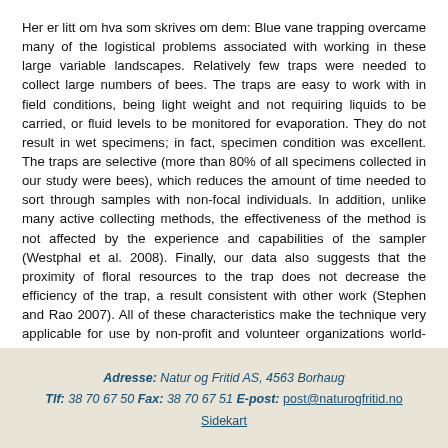Her er litt om hva som skrives om dem: Blue vane trapping overcame many of the logistical problems associated with working in these large variable landscapes. Relatively few traps were needed to collect large numbers of bees. The traps are easy to work with in field conditions, being light weight and not requiring liquids to be carried, or fluid levels to be monitored for evaporation. They do not result in wet specimens; in fact, specimen condition was excellent. The traps are selective (more than 80% of all specimens collected in our study were bees), which reduces the amount of time needed to sort through samples with non-focal individuals. In addition, unlike many active collecting methods, the effectiveness of the method is not affected by the experience and capabilities of the sampler (Westphal et al. 2008). Finally, our data also suggests that the proximity of floral resources to the trap does not decrease the efficiency of the trap, a result consistent with other work (Stephen and Rao 2007). All of these characteristics make the technique very applicable for use by non-profit and volunteer organizations world-wide. Finally, blue vane traps do not necessarily kill specimens, allowing for the potential of catch and release.
Adresse: Natur og Fritid AS, 4563 Borhaug Tlf: 38 70 67 50 Fax: 38 70 67 51 E-post: post@naturogfritid.no Sidekart